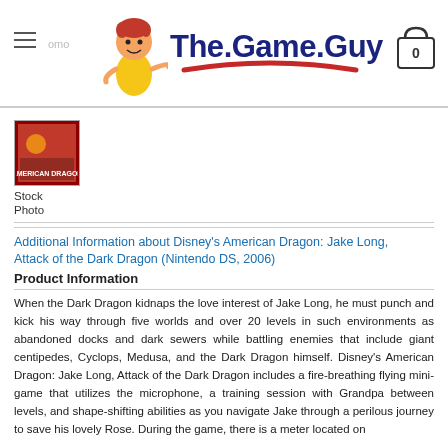The.Game.Guy — header with logo, menu, and cart
[Figure (photo): Small product thumbnail image of Disney's American Dragon: Jake Long game cover, red background]
Stock Photo
Additional Information about Disney's American Dragon: Jake Long, Attack of the Dark Dragon (Nintendo DS, 2006)
Product Information
When the Dark Dragon kidnaps the love interest of Jake Long, he must punch and kick his way through five worlds and over 20 levels in such environments as abandoned docks and dark sewers while battling enemies that include giant centipedes, Cyclops, Medusa, and the Dark Dragon himself. Disney's American Dragon: Jake Long, Attack of the Dark Dragon includes a fire-breathing flying mini-game that utilizes the microphone, a training session with Grandpa between levels, and shape-shifting abilities as you navigate Jake through a perilous journey to save his lovely Rose. During the game, there is a meter located on